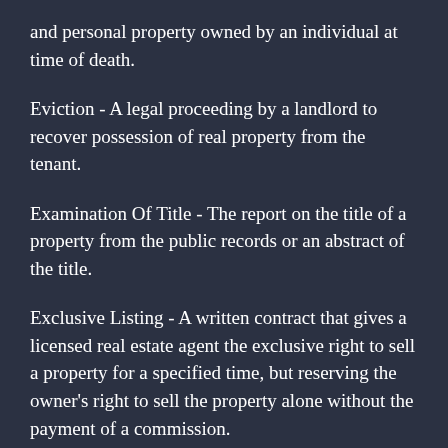and personal property owned by an individual at time of death.
Eviction - A legal proceeding by a landlord to recover possession of real property from the tenant.
Examination Of Title - The report on the title of a property from the public records or an abstract of the title.
Exclusive Listing - A written contract that gives a licensed real estate agent the exclusive right to sell a property for a specified time, but reserving the owner's right to sell the property alone without the payment of a commission.